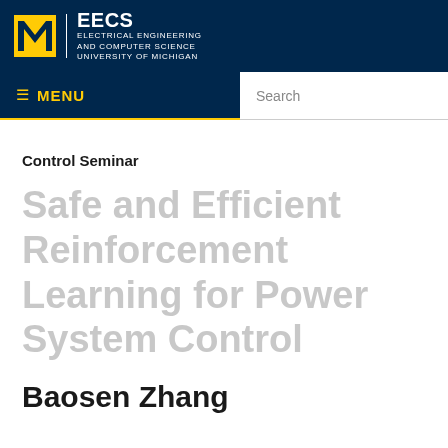[Figure (logo): University of Michigan EECS - Electrical Engineering and Computer Science logo with block M in maize and blue header]
≡ MENU    Search
Control Seminar
Safe and Efficient Reinforcement Learning for Power System Control
Baosen Zhang